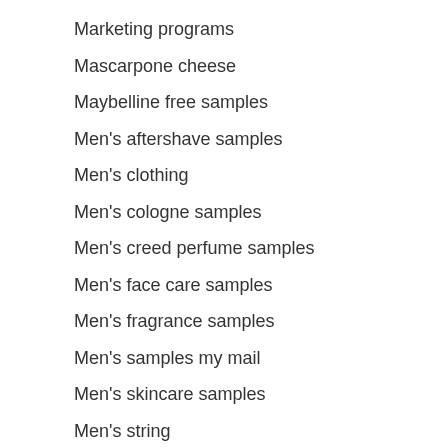Marketing programs
Mascarpone cheese
Maybelline free samples
Men's aftershave samples
Men's clothing
Men's cologne samples
Men's creed perfume samples
Men's face care samples
Men's fragrance samples
Men's samples my mail
Men's skincare samples
Men's string
Mexican guitar samples